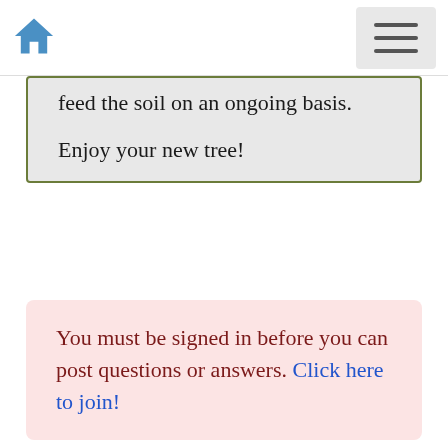Home | Menu
feed the soil on an ongoing basis.

Enjoy your new tree!
You must be signed in before you can post questions or answers. Click here to join!
« Return to the Garden Knowledgebase Homepage
Member Login:
Username or email